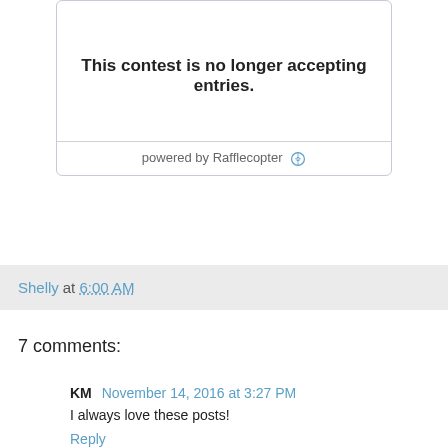[Figure (screenshot): Rafflecopter contest widget showing 'This contest is no longer accepting entries.' with 'powered by Rafflecopter' footer]
Shelly at 6:00 AM
7 comments:
KM November 14, 2016 at 3:27 PM
I always love these posts!
Reply